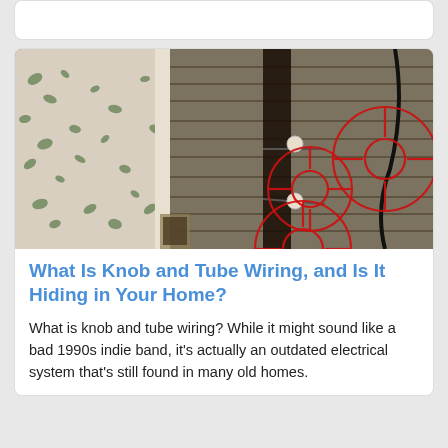[Figure (photo): Photo of old knob and tube wiring exposed inside a wall opening, with red crosshair/target circles overlaid on the wiring components. The wall shows exposed lath boards and dated electrical components.]
What Is Knob and Tube Wiring, and Is It Hiding in Your Home?
What is knob and tube wiring? While it might sound like a bad 1990s indie band, it's actually an outdated electrical system that's still found in many old homes.